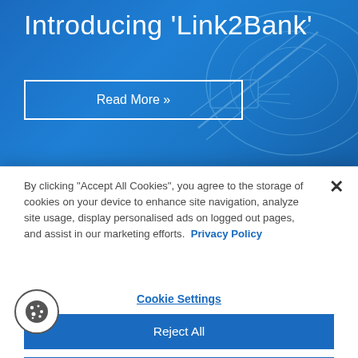Introducing 'Link2Bank'
Read More »
By clicking “Accept All Cookies”, you agree to the storage of cookies on your device to enhance site navigation, analyze site usage, display personalised ads on logged out pages, and assist in our marketing efforts.  Privacy Policy
Cookie Settings
Reject All
Accept All Cookies